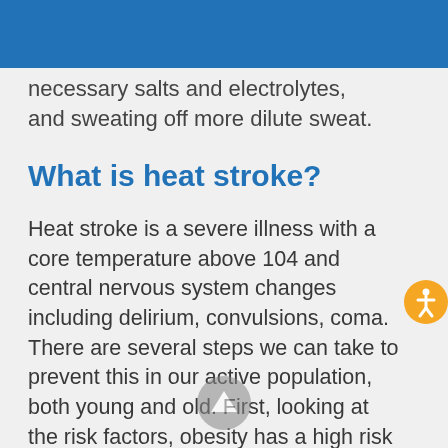necessary salts and electrolytes, and sweating off more dilute sweat.
What is heat stroke?
Heat stroke is a severe illness with a core temperature above 104 and central nervous system changes including delirium, convulsions, coma. There are several steps we can take to prevent this in our active population, both young and old. First, looking at the risk factors, obesity has a high risk factor. Overweight men are 3.2 times more likely to have any heat illness than non-obese men. Certain